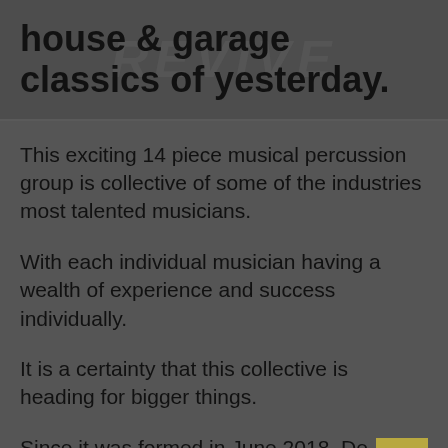house & garage classics of yesterday.
This exciting 14 piece musical percussion group is collective of some of the industries most talented musicians.
With each individual musician having a wealth of experience and success individually.
It is a certainty that this collective is heading for bigger things.
Since it was formed in June 2018, De-TRONIC is fir...